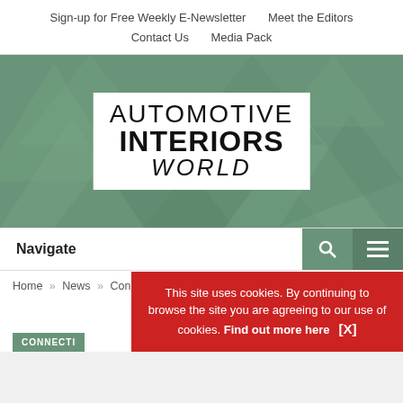Sign-up for Free Weekly E-Newsletter   Meet the Editors   Contact Us   Media Pack
[Figure (logo): Automotive Interiors World logo on green geometric triangles background]
Navigate
Home » News » Connectivity » Kia Seltos takes on Texas Hill Country
This site uses cookies. By continuing to browse the site you are agreeing to our use of cookies. Find out more here   [X]
CONNECTI